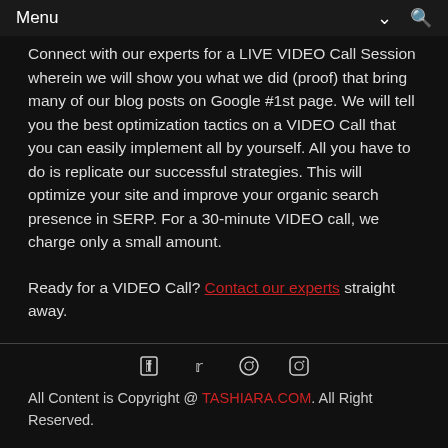Menu
Connect with our experts for a LIVE VIDEO Call Session wherein we will show you what we did (proof) that bring many of our blog posts on Google #1st page. We will tell you the best optimization tactics on a VIDEO Call that you can easily implement all by yourself. All you have to do is replicate our successful strategies. This will optimize your site and improve your organic search presence in SERP. For a 30-minute VIDEO call, we charge only a small amount.
Ready for a VIDEO Call? Contact our experts straight away.
[Figure (other): Social media icons: Facebook, Twitter, Pinterest, Instagram]
All Content is Copyright @ TASHIARA.COM. All Right Reserved.